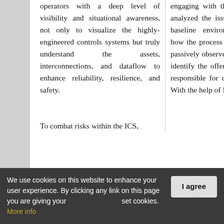operators with a deep level of visibility and situational awareness, not only to visualize the highly-engineered controls systems but truly understand the assets, interconnections, and dataflow to enhance reliability, resilience, and safety.

To combat risks within the ICS,
engaging with the client, NexDefense analyzed the issues by examining the baseline environment, understanding how the process should look, and then passively observed activities in order to identify the offending issues that were responsible for disrupting the process. With the help of Integrity
We use cookies on this website to enhance your user experience. By clicking any link on this page you are giving your consent for us to set cookies. More info